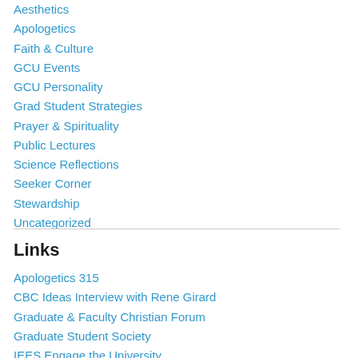Aesthetics
Apologetics
Faith & Culture
GCU Events
GCU Personality
Grad Student Strategies
Prayer & Spirituality
Public Lectures
Science Reflections
Seeker Corner
Stewardship
Uncategorized
Links
Apologetics 315
CBC Ideas Interview with Rene Girard
Graduate & Faculty Christian Forum
Graduate Student Society
IEES Engage the University